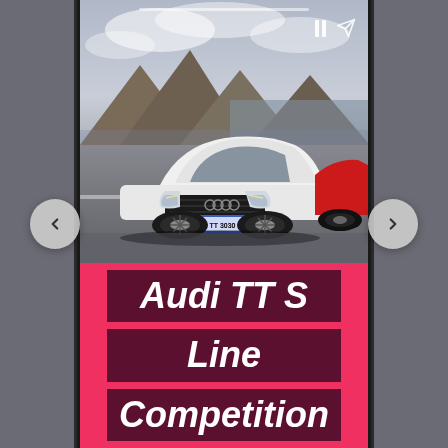[Figure (photo): A white Audi TT S coupe on a road with mountains and coastal scenery in the background, and a partial view of a red sports car on the right side. Screenshot of a social media story/carousel interface with pause and send icons at top, navigation arrows on both sides.]
Audi TT S Line Competition